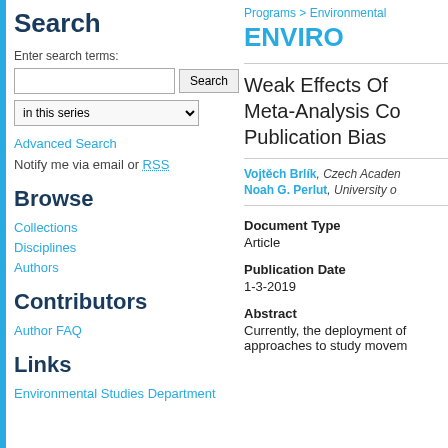Search
Enter search terms:
in this series
Advanced Search
Notify me via email or RSS
Browse
Collections
Disciplines
Authors
Contributors
Author FAQ
Links
Environmental Studies Department
Programs > Environmental
ENVIRO
Weak Effects Of Meta-Analysis Co Publication Bias
Vojtěch Brlík, Czech Acaden Noah G. Perlut, University o
Document Type
Article
Publication Date
1-3-2019
Abstract
Currently, the deployment of approaches to study movem